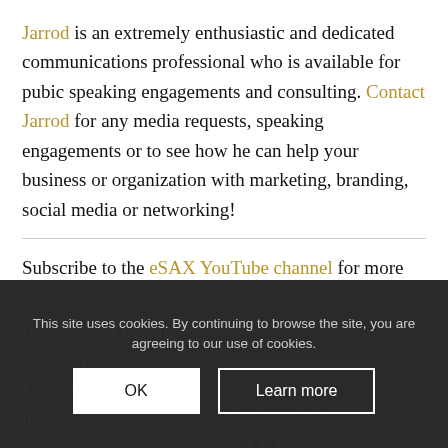Jarrod is an extremely enthusiastic and dedicated communications professional who is available for pubic speaking engagements and consulting. Contact Jarrod for any media requests, speaking engagements or to see how he can help your business or organization with marketing, branding, social media or networking!
Subscribe to the eSAX YouTube channel for more entrepreneur networking tips and connect with us on social media! Twitter (#eSAX) / Facebook / Instagram / LinkedIn
eSAX (The Entrepreneur Social Advantage Experience – .ca) is an entrepreneur networking co... small business located in Ottawa, Ontario, Canada. #eSAX Makes
This site uses cookies. By continuing to browse the site, you are agreeing to our use of cookies.